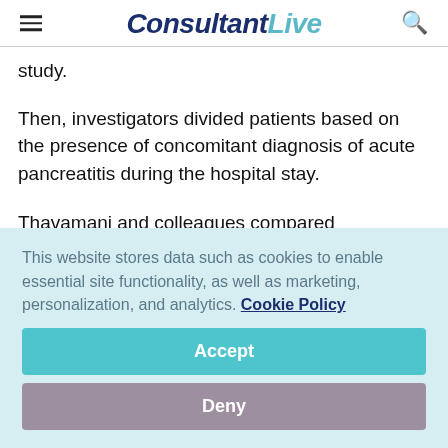ConsultantLive
study.
Then, investigators divided patients based on the presence of concomitant diagnosis of acute pancreatitis during the hospital stay.
Thavamani and colleagues compared
This website stores data such as cookies to enable essential site functionality, as well as marketing, personalization, and analytics. Cookie Policy
Accept
Deny